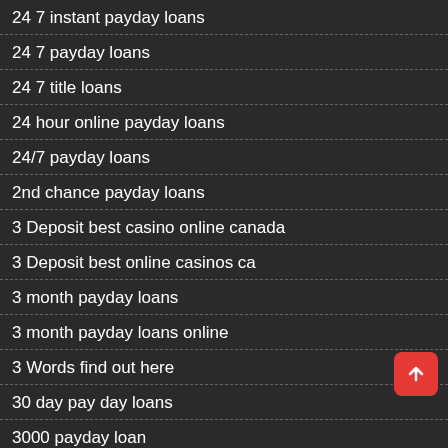24 7 instant payday loans
24 7 payday loans
24 7 title loans
24 hour online payday loans
24/7 payday loans
2nd chance payday loans
3 Deposit best casino online canada
3 Deposit best online casinos ca
3 month payday loans
3 month payday loans online
3 Words find out here
30 day pay day loans
3000 payday loan